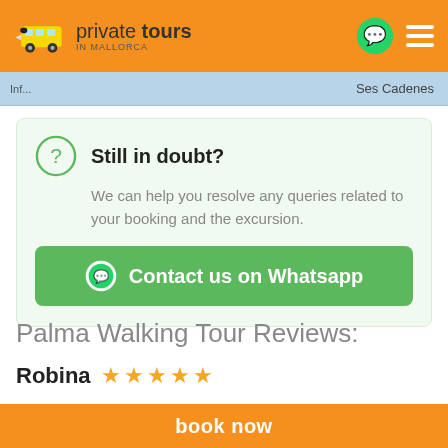private tours IN MALLORCA
[Figure (screenshot): Map strip showing 'Ses Cadenes' location label on a light blue map background]
Still in doubt?
We can help you resolve any queries related to your booking and the excursion.
Contact us on Whatsapp
Palma Walking Tour Reviews:
Robina ★★★★★
Have visited many cathedrals, was really blown away
book now